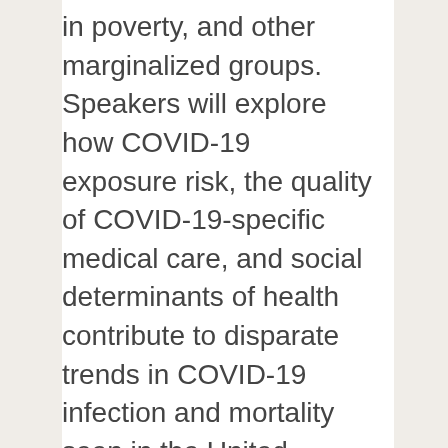in poverty, and other marginalized groups. Speakers will explore how COVID-19 exposure risk, the quality of COVID-19-specific medical care, and social determinants of health contribute to disparate trends in COVID-19 infection and mortality seen in the United States. Speakers will be asked to comment on the major public health needs, such as data collection and studies performed, that are required to support a more equitable pandemic response.